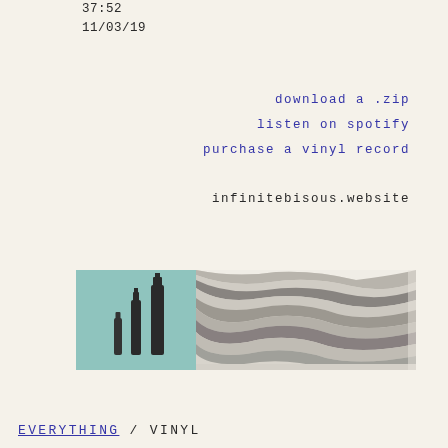37:52
11/03/19
download a .zip
listen on spotify
purchase a vinyl record
infinitebisous.website
[Figure (photo): Album artwork collage: left portion shows a teal/blue-green background with silhouette of two bottles; right portion shows a black and white abstract pattern resembling animal print or aerial landscape]
EVERYTHING / VINYL